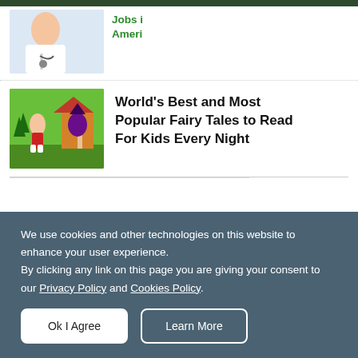[Figure (screenshot): Top navigation bar dark green]
[Figure (illustration): Medical professional (doctor/nurse) thumbnail image with green text 'Jobs i... Ameri...']
Jobs i... Ameri... Salary Careers
[Figure (illustration): Fairy tale cartoon illustration showing a girl in red dress and a witch near a gingerbread house]
World's Best and Most Popular Fairy Tales to Read For Kids Every Night
We use cookies and other technologies on this website to enhance your user experience.
By clicking any link on this page you are giving your consent to our Privacy Policy and Cookies Policy.
Ok I Agree
Learn More